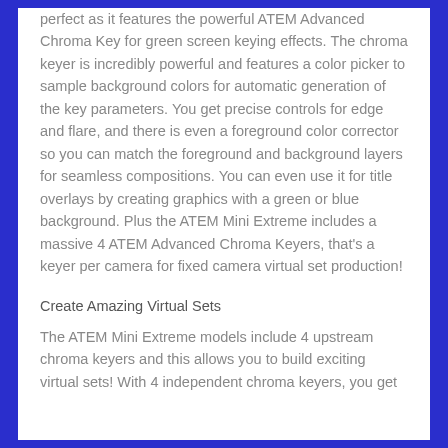perfect as it features the powerful ATEM Advanced Chroma Key for green screen keying effects. The chroma keyer is incredibly powerful and features a color picker to sample background colors for automatic generation of the key parameters. You get precise controls for edge and flare, and there is even a foreground color corrector so you can match the foreground and background layers for seamless compositions. You can even use it for title overlays by creating graphics with a green or blue background. Plus the ATEM Mini Extreme includes a massive 4 ATEM Advanced Chroma Keyers, that's a keyer per camera for fixed camera virtual set production!
Create Amazing Virtual Sets
The ATEM Mini Extreme models include 4 upstream chroma keyers and this allows you to build exciting virtual sets! With 4 independent chroma keyers, you get